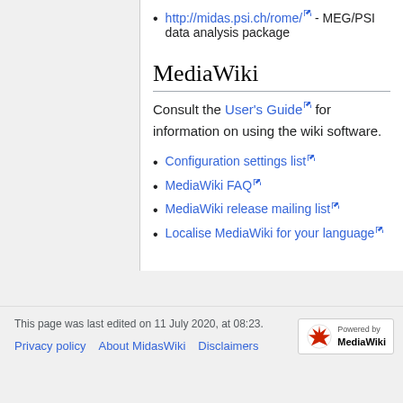http://midas.psi.ch/rome/ - MEG/PSI data analysis package
MediaWiki
Consult the User's Guide for information on using the wiki software.
Configuration settings list
MediaWiki FAQ
MediaWiki release mailing list
Localise MediaWiki for your language
This page was last edited on 11 July 2020, at 08:23.
Privacy policy   About MidasWiki   Disclaimers